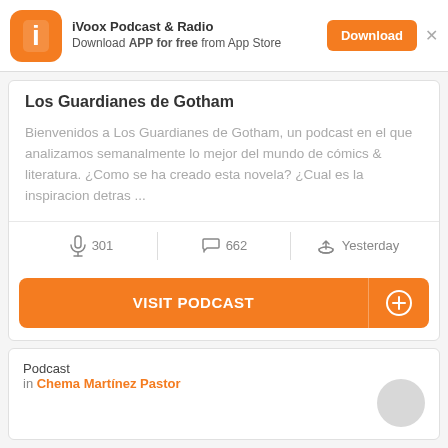iVoox Podcast & Radio — Download APP for free from App Store
Los Guardianes de Gotham
Bienvenidos a Los Guardianes de Gotham, un podcast en el que analizamos semanalmente lo mejor del mundo de cómics & literatura. ¿Como se ha creado esta novela? ¿Cual es la inspiracion detras ...
301  662  Yesterday
VISIT PODCAST
Podcast
in Chema Martínez Pastor